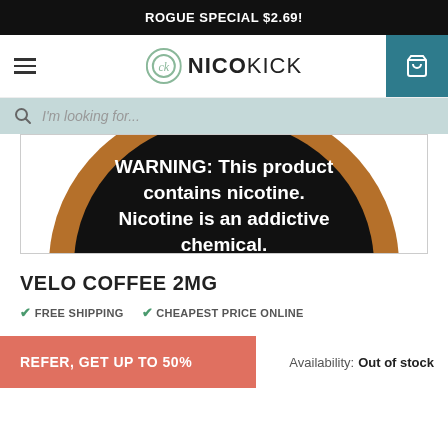ROGUE SPECIAL $2.69!
[Figure (logo): NicoKick logo with circular ck icon and bold NICOKICK wordmark]
[Figure (photo): Product can (Velo Coffee 2mg) showing bottom with WARNING text: This product contains nicotine. Nicotine is an addictive chemical.]
VELO COFFEE 2MG
✔ FREE SHIPPING  ✔ CHEAPEST PRICE ONLINE
REFER, GET UP TO 50%
Availability: Out of stock